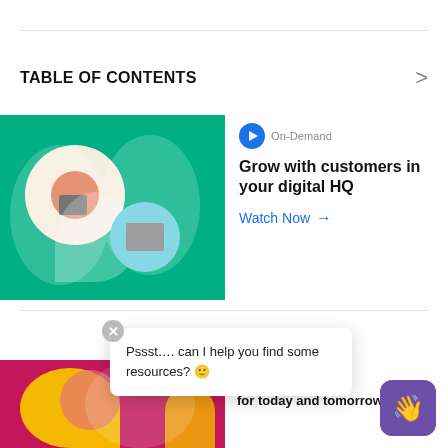TABLE OF CONTENTS
[Figure (illustration): Green background card with circular illustrations showing digital home office scenes]
On-Demand
Grow with customers in your digital HQ
Watch Now →
[Figure (illustration): Pink/magenta background card with yellow illustrated characters]
On-Demand
for today and tomorrow
Pssst…. can I help you find some resources? 🙂